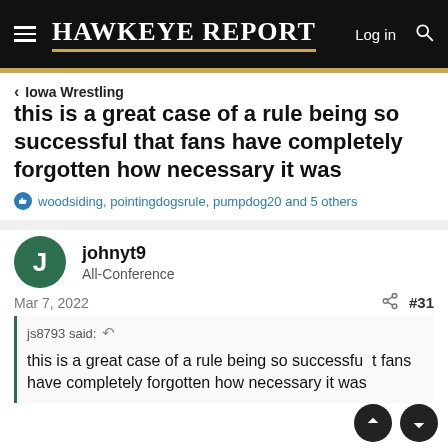Hawkeye Report — Log in [search icon]
Iowa Wrestling
this is a great case of a rule being so successful that fans have completely forgotten how necessary it was
woodsiding, pointingdogsrule, pumpdog20 and 5 others
johnyt9
All-Conference
Mar 7, 2022  #31
js8793 said:
this is a great case of a rule being so successful that fans have completely forgotten how necessary it was